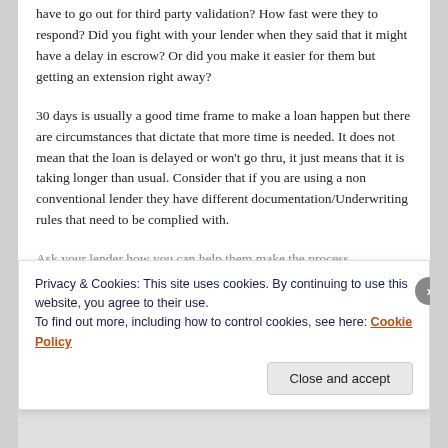have to go out for third party validation?  How fast were they to respond?  Did you fight with your lender when they said that it might have a delay in escrow?  Or did you make it easier for them but getting an extension right away?
30 days is usually a good time frame to make a loan happen but there are circumstances that dictate that more time is needed.  It does not mean that the loan is delayed or won't go thru, it just means that it is taking longer than usual.  Consider that if you are using a non conventional lender they have different documentation/Underwriting rules that need to be complied with.
Ask your lender how you can help them make the process
Privacy & Cookies: This site uses cookies. By continuing to use this website, you agree to their use.
To find out more, including how to control cookies, see here: Cookie Policy